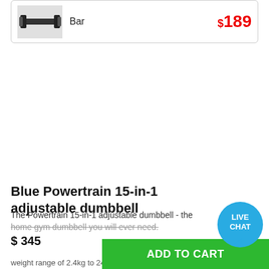[Figure (screenshot): Product card showing a dumbbell bar image with label 'Bar' and price $189]
Blue Powertrain 15-in-1 adjustable dumbbell
The Powertrain 15-in-1 adjustable dumbbell - the home gym dumbbell you will ever need.
$ 345
ADD TO CART
weight range of 2.4kg to 24kg giving you a
[Figure (illustration): Blue circular LIVE CHAT button/bubble]